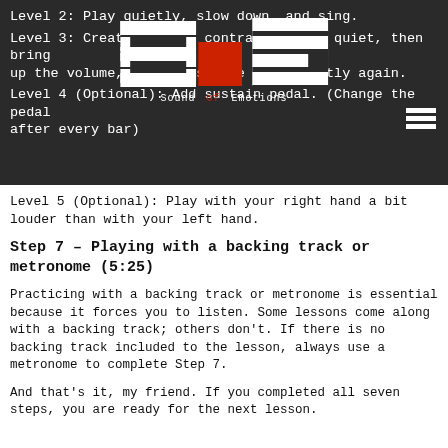[Figure (logo): Sound of Emotions (SE) logo with piano keys and red square in center, overlaid on dark background]
Level 2: Play quietly, slow down, and sing.
Level 3: Create dynamic contrast. Start quiet, then bring up the volume, and finish the piece softly again.
Level 4 (Optional): Add sustain pedal. (Change the pedal after every bar)
Level 5 (Optional): Play with your right hand a bit louder than with your left hand.
Step 7 – Playing with a backing track or metronome (5:25)
Practicing with a backing track or metronome is essential because it forces you to listen. Some lessons come along with a backing track; others don't. If there is no backing track included to the lesson, always use a metronome to complete Step 7.
And that's it, my friend. If you completed all seven steps, you are ready for the next lesson.